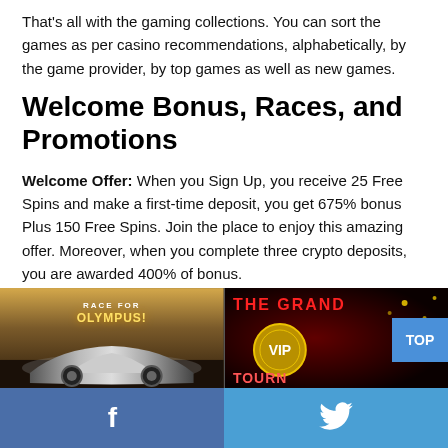That's all with the gaming collections. You can sort the games as per casino recommendations, alphabetically, by the game provider, by top games as well as new games.
Welcome Bonus, Races, and Promotions
Welcome Offer: When you Sign Up, you receive 25 Free Spins and make a first-time deposit, you get 675% bonus Plus 150 Free Spins. Join the place to enjoy this amazing offer. Moreover, when you complete three crypto deposits, you are awarded 400% of bonus.
There are many other exciting promotions for gamblers. Let's have an overview of each one of them.
[Figure (photo): Two promotional banner images side by side: left shows a racing car with text 'RACE FOR OLYMPUS!', right shows a VIP tournament banner with text 'THE GRAND VIP TOURN...' and a TOP button overlay]
f (Facebook icon) | Twitter bird icon — social media share bar